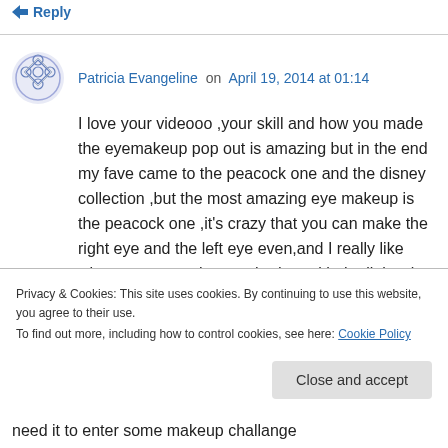Reply
Patricia Evangeline on April 19, 2014 at 01:14
I love your videooo ,your skill and how you made the eyemakeup pop out is amazing but in the end my fave came to the peacock one and the disney collection ,but the most amazing eye makeup is the peacock one ,it's crazy that you can make the right eye and the left eye even,and I really like when you cover the eyeshadow with the little wit... need it to enter some makeup challange
Privacy & Cookies: This site uses cookies. By continuing to use this website, you agree to their use.
To find out more, including how to control cookies, see here: Cookie Policy
Close and accept